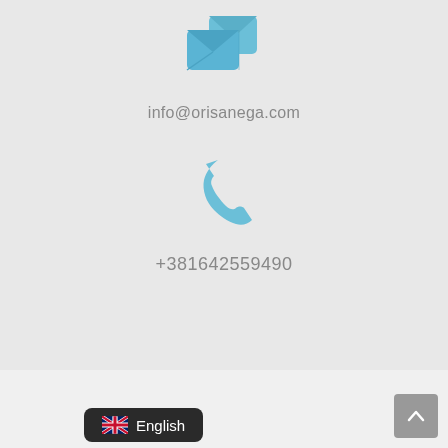[Figure (illustration): Blue email/envelope icon with overlapping message notification icon]
info@orisanega.com
[Figure (illustration): Blue telephone/phone handset icon]
+381642559490
[Figure (illustration): Language selector button showing UK flag and text 'English' on dark background]
[Figure (illustration): Scroll-to-top button with upward chevron on grey background]